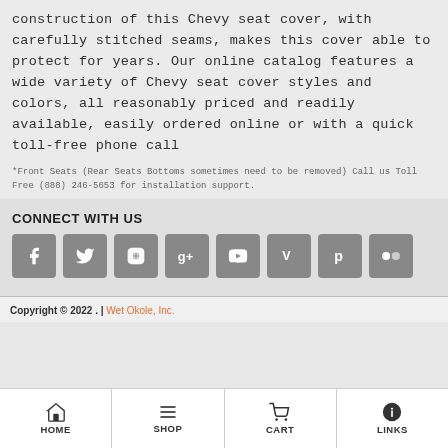construction of this Chevy seat cover, with carefully stitched seams, makes this cover able to protect for years. Our online catalog features a wide variety of Chevy seat cover styles and colors, all reasonably priced and readily available, easily ordered online or with a quick toll-free phone call
*Front Seats (Rear Seats Bottoms sometimes need to be removed) Call us Toll Free (888) 246-5653 for installation support.
CONNECT WITH US
[Figure (infographic): Row of 8 social media icon buttons (Facebook, Twitter, Instagram, Google+, YouTube, Vimeo, Pinterest, Flickr) displayed as dark grey rounded squares with white icons]
Copyright © 2022 . | Wet Okole, Inc.
HOME | SHOP | CART | LINKS